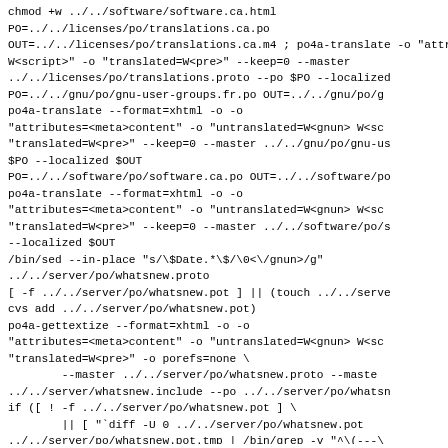chmod +w ../../software/software.ca.html
PO=../../licenses/po/translations.ca.po
OUT=../../licenses/po/translations.ca.m4 ; po4a-translate
ontagerror=silent -o "attributes=<meta>content" -o "untra
W<script>" -o "translated=W<pre>" --keep=0 --master
../../licenses/po/translations.proto --po $PO --localized
PO=../../gnu/po/gnu-user-groups.fr.po OUT=../../gnu/po/g
po4a-translate --format=xhtml -o ontagerror=silent -o
"attributes=<meta>content" -o "untranslated=W<gnun> W<sc
"translated=W<pre>" --keep=0 --master ../../gnu/po/gnu-u
$PO --localized $OUT
PO=../../software/po/software.ca.po OUT=../../software/p
po4a-translate --format=xhtml -o ontagerror=silent -o
"attributes=<meta>content" -o "untranslated=W<gnun> W<sc
"translated=W<pre>" --keep=0 --master ../../software/po/
--localized $OUT
/bin/sed --in-place "s/\$Date.*\$/<gnun>\0<\/gnun>/g"
../../server/po/whatsnew.proto
[ -f ../../server/po/whatsnew.pot ] || (touch ../../serv
cvs add ../../server/po/whatsnew.pot)
po4a-gettextize --format=xhtml -o ontagerror=silent -o
"attributes=<meta>content" -o "untranslated=W<gnun> W<sc
"translated=W<pre>" -o porefs=none \
        --master ../../server/po/whatsnew.proto --maste
../../server/whatsnew.include --po ../../server/po/whatsn
if ([ ! -f ../../server/po/whatsnew.pot ] \
        || [ "`diff -U 0 ../../server/po/whatsnew.pot
../../server/po/whatsnew.pot.tmp | /bin/grep -v "^\(---\
        | /bin/grep -v '^[-+]\"POT-Creation-Date:' |
\